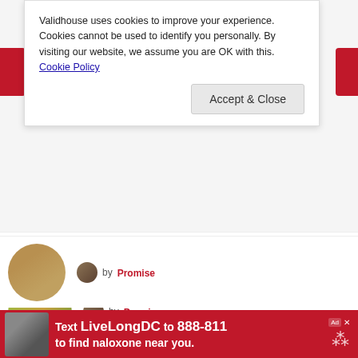Validhouse uses cookies to improve your experience. Cookies cannot be used to identify you personally. By visiting our website, we assume you are OK with this. Cookie Policy
Accept & Close
5 HOA Backyard Rules You Must Know
by Promise
Florida Condominium Swimming Pool Regulations (2022)
Text LiveLongDC to 888-811 to find naloxone near you.